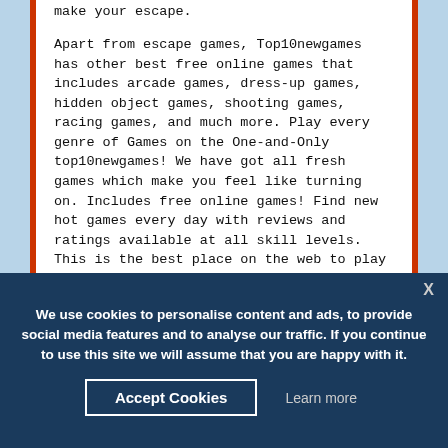make your escape.
Apart from escape games, Top10newgames has other best free online games that includes arcade games, dress-up games, hidden object games, shooting games, racing games, and much more. Play every genre of Games on the One-and-Only top10newgames! We have got all fresh games which make you feel like turning on. Includes free online games! Find new hot games every day with reviews and ratings available at all skill levels. This is the best place on the web to play games for free.
Your privacy is important to us.
It is top10newgames policy to respect your privacy regarding any information we may collect while operating our website. Accordingly, we have developed this privacy policy in order for you to understand how we collect, use, communicate, disclose and otherwise make use of personal information. We have
We use cookies to personalise content and ads, to provide social media features and to analyse our traffic. If you continue to use this site we will assume that you are happy with it.
Accept Cookies
Learn more